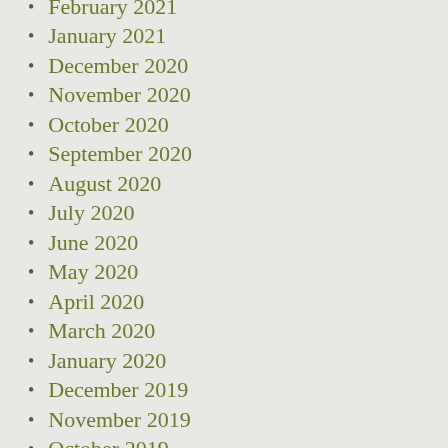February 2021
January 2021
December 2020
November 2020
October 2020
September 2020
August 2020
July 2020
June 2020
May 2020
April 2020
March 2020
January 2020
December 2019
November 2019
October 2019
September 2019